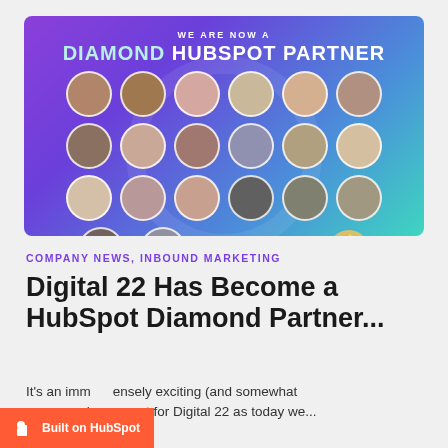[Figure (photo): Promotional banner with purple-to-teal gradient background showing 'WE ARE NOW A DIAMOND HUBSPOT PARTNER' text with team member circular profile photos arranged in a 4-row grid, Digital 22 logo and Diamond HubSpot Partner badge at bottom]
COMPANY NEWS, INBOUND MARKETING
Digital 22 Has Become a HubSpot Diamond Partner...
It's an immensely exciting (and somewhat surreal) moment for Digital 22 as today we...